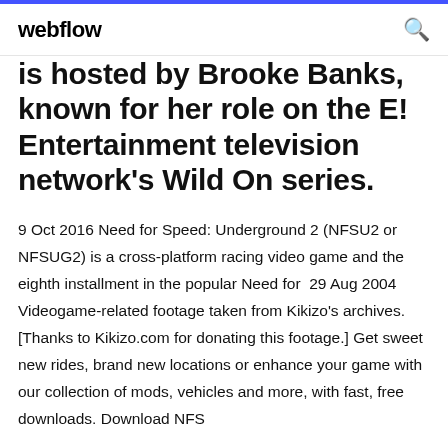webflow
is hosted by Brooke Banks, known for her role on the E! Entertainment television network's Wild On series.
9 Oct 2016 Need for Speed: Underground 2 (NFSU2 or NFSUG2) is a cross-platform racing video game and the eighth installment in the popular Need for  29 Aug 2004 Videogame-related footage taken from Kikizo's archives. [Thanks to Kikizo.com for donating this footage.] Get sweet new rides, brand new locations or enhance your game with our collection of mods, vehicles and more, with fast, free downloads. Download NFS